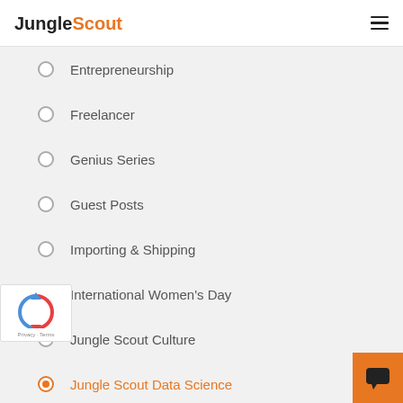JungleScout
Entrepreneurship
Freelancer
Genius Series
Guest Posts
Importing & Shipping
International Women's Day
Jungle Scout Culture
Jungle Scout Data Science
Jungle Scout Updates
Keyword Research
Monthly Sales-Rank Updates